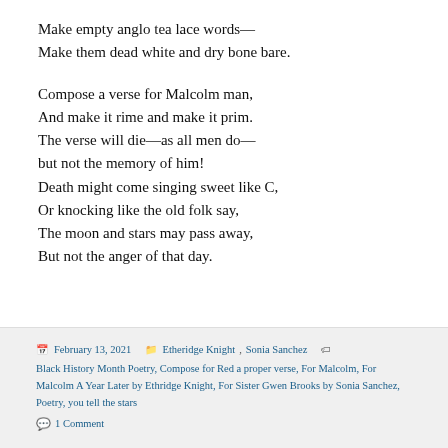Make empty anglo tea lace words—
Make them dead white and dry bone bare.
Compose a verse for Malcolm man,
And make it rime and make it prim.
The verse will die—as all men do—
but not the memory of him!
Death might come singing sweet like C,
Or knocking like the old folk say,
The moon and stars may pass away,
But not the anger of that day.
February 13, 2021  Etheridge Knight, Sonia Sanchez  Black History Month Poetry, Compose for Red a proper verse, For Malcolm, For Malcolm A Year Later by Ethridge Knight, For Sister Gwen Brooks by Sonia Sanchez, Poetry, you tell the stars  1 Comment